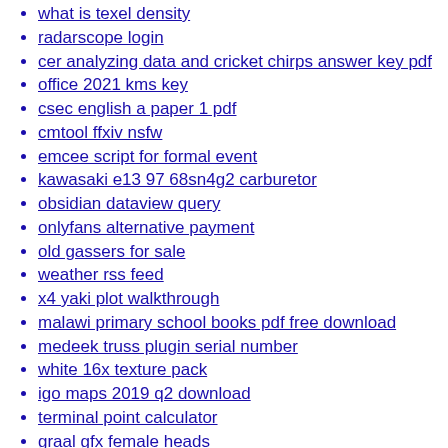what is texel density
radarscope login
cer analyzing data and cricket chirps answer key pdf
office 2021 kms key
csec english a paper 1 pdf
cmtool ffxiv nsfw
emcee script for formal event
kawasaki e13 97 68sn4g2 carburetor
obsidian dataview query
onlyfans alternative payment
old gassers for sale
weather rss feed
x4 yaki plot walkthrough
malawi primary school books pdf free download
medeek truss plugin serial number
white 16x texture pack
igo maps 2019 q2 download
terminal point calculator
graal gfx female heads
shark uv650 attachments
fun twitch commands for viewers streamelements
https nsw2u xyz diablo
full body massage myrtle beach
cub cadet lt1050 deck belt replacement
vertex conjunct chiron synastry